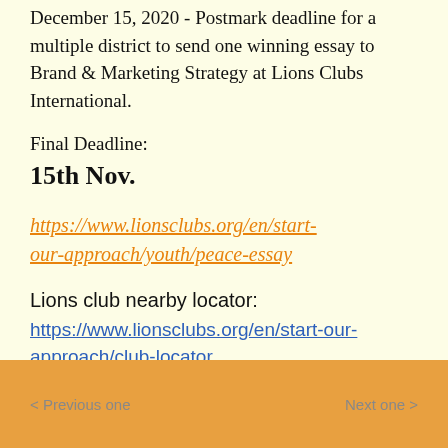December 15, 2020 - Postmark deadline for a multiple district to send one winning essay to Brand & Marketing Strategy at Lions Clubs International.
Final Deadline:
15th Nov.
https://www.lionsclubs.org/en/start-our-approach/youth/peace-essay
Lions club nearby locator:
https://www.lionsclubs.org/en/start-our-approach/club-locator
< Previous one    Next one >